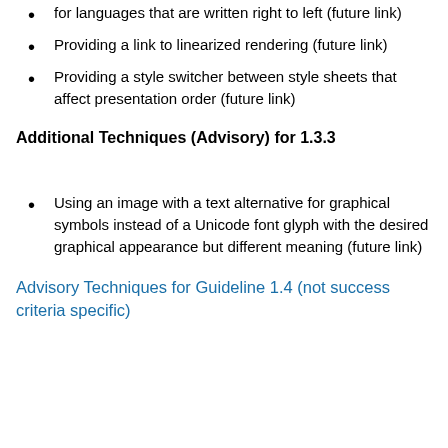for languages that are written right to left (future link)
Providing a link to linearized rendering (future link)
Providing a style switcher between style sheets that affect presentation order (future link)
Additional Techniques (Advisory) for 1.3.3
Using an image with a text alternative for graphical symbols instead of a Unicode font glyph with the desired graphical appearance but different meaning (future link)
Advisory Techniques for Guideline 1.4 (not success criteria specific)